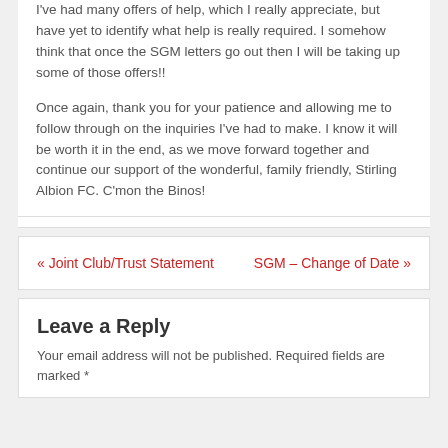I've had many offers of help, which I really appreciate, but have yet to identify what help is really required.  I somehow think that once the SGM letters go out then I will be taking up some of those offers!!

Once again, thank you for your patience and allowing me to follow through on the inquiries I've had to make.  I know it will be worth it in the end, as we move forward together and continue our support of the wonderful, family friendly, Stirling Albion FC.  C'mon the Binos!
« Joint Club/Trust Statement    SGM – Change of Date »
Leave a Reply
Your email address will not be published. Required fields are marked *